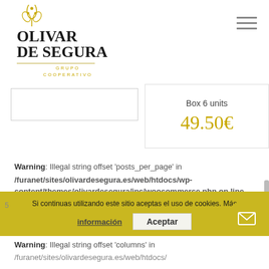[Figure (logo): Olivar de Segura Grupo Cooperativo logo with olive branch icon and gold underline]
[Figure (illustration): Hamburger menu icon (three horizontal lines) in top right corner]
[Figure (other): Left product image placeholder box (empty white rectangle with border)]
Box 6 units
49.50€
Warning: Illegal string offset 'posts_per_page' in /furanet/sites/olivardesegura.es/web/htdocs/wp-content/themes/olivardesegura/inc/woocommerce.php on line 5
Si continuas utilizando este sitio aceptas el uso de cookies. Más información  Aceptar
Warning: Illegal string offset 'columns' in /furanet/sites/olivardesegura.es/web/htdocs/...